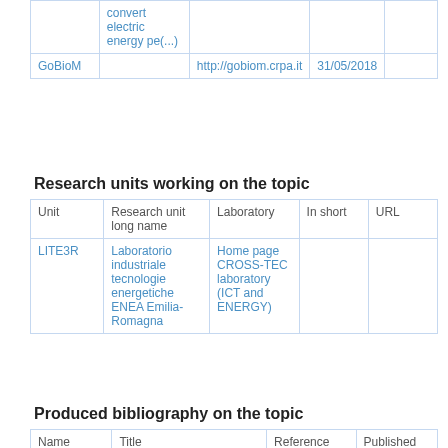| Unit | Research unit long name | Laboratory | In short | URL |
| --- | --- | --- | --- | --- |
|  | convert electric energy pe(...) |  |  |  |
| GoBioM |  | http://gobiom.crpa.it | 31/05/2018 |  |
Research units working on the topic
| Unit | Research unit long name | Laboratory | In short | URL |
| --- | --- | --- | --- | --- |
| LITE3R | Laboratorio industriale tecnologie energetiche ENEA Emilia-Romagna | Home page CROSS-TEC laboratory (ICT and ENERGY) |  |  |
Produced bibliography on the topic
| Name | Title | Reference | Published |
| --- | --- | --- | --- |